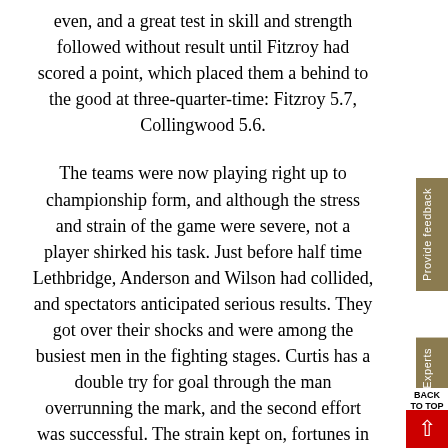even, and a great test in skill and strength followed without result until Fitzroy had scored a point, which placed them a behind to the good at three-quarter-time: Fitzroy 5.7, Collingwood 5.6.

The teams were now playing right up to championship form, and although the stress and strain of the game were severe, not a player shirked his task. Just before half time Lethbridge, Anderson and Wilson had collided, and spectators anticipated serious results. They got over their shocks and were among the busiest men in the fighting stages. Curtis has a double try for goal through the man overrunning the mark, and the second effort was successful. The strain kept on, fortunes in play favouring one side and then the other. Parratt came with another for Fitzroy, and again goal scores were even.